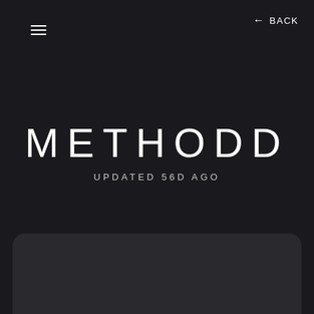[Figure (screenshot): Hamburger menu icon — three horizontal white lines stacked vertically, positioned top-left]
← BACK
METHODD
UPDATED 56D AGO
[Figure (other): Dark rounded-top rectangular panel at the bottom of the screen]